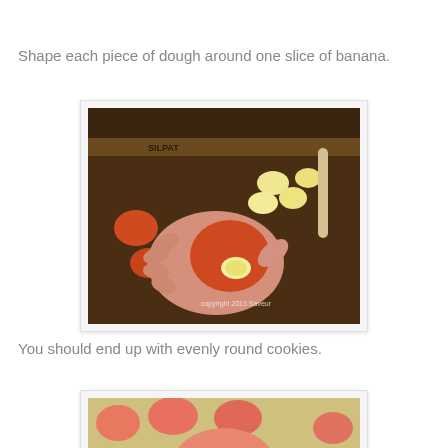Shape each piece of dough around one slice of banana.
[Figure (photo): A hand holding a piece of orange/red cookie dough shaped around a banana slice, with more dough pieces and banana slices visible on a baking mat in the background.]
You should end up with evenly round cookies.
[Figure (photo): Round pink/orange cookies arranged on a parchment-lined baking sheet, with one large cookie prominently in the foreground.]